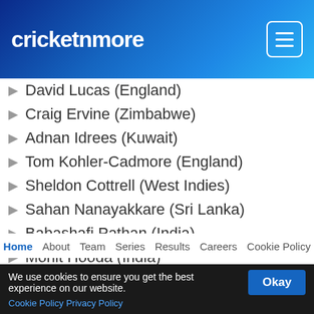cricketnmore
David Lucas (England)
Craig Ervine (Zimbabwe)
Adnan Idrees (Kuwait)
Tom Kohler-Cadmore (England)
Sheldon Cottrell (West Indies)
Sahan Nanayakkare (Sri Lanka)
Babashafi Pathan (India)
Mohit Hooda (India)
Mesuli Vuba (South Africa)
Vinavi Gurav (India)
MORE STORIES
Home  About  Team  Series  Results  Careers  Cookie Policy
We use cookies to ensure you get the best experience on our website. Cookie Policy  Privacy Policy  Okay